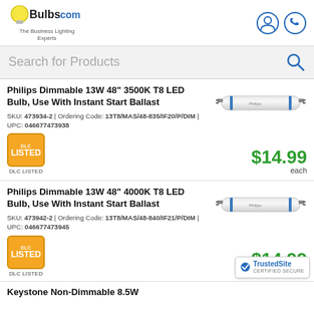Bulbs.com — The Business Lighting Experts
Search for Products
Philips Dimmable 13W 48" 3500K T8 LED Bulb, Use With Instant Start Ballast
SKU: 473934-2 | Ordering Code: 13T8/MAS/48-835/IF20/P/DIM  | UPC: 046677473938
[Figure (photo): Philips T8 LED tube bulb, elongated fluorescent-style lamp]
DLC LISTED
$14.99 each
Philips Dimmable 13W 48" 4000K T8 LED Bulb, Use With Instant Start Ballast
SKU: 473942-2 | Ordering Code: 13T8/MAS/48-840/IF21/P/DIM  | UPC: 046677473945
[Figure (photo): Philips T8 LED tube bulb, elongated fluorescent-style lamp]
DLC LISTED
$14.99 each
[Figure (logo): TrustedSite Certified Secure badge]
Keystone Non-Dimmable 8.5W